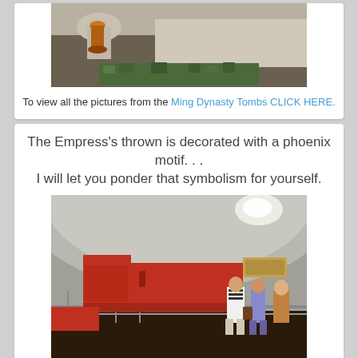[Figure (photo): Photo of Ming Dynasty tomb interior with stone artifacts and offerings]
To view all the pictures from the Ming Dynasty Tombs CLICK HERE.
The Empress's thrown is decorated with a phoenix motif. . . I will let you ponder that symbolism for yourself.
[Figure (photo): Photo of Ming Dynasty tomb underground chamber with large red lacquered coffins/thrones behind metal railings, tourists walking on wooden floor under arched stone ceiling]
To view all the pictures from the Ming Dynasty Tombs CLICK HERE.
Furthermore, in the tomb, you can admire the sarcophagus of the